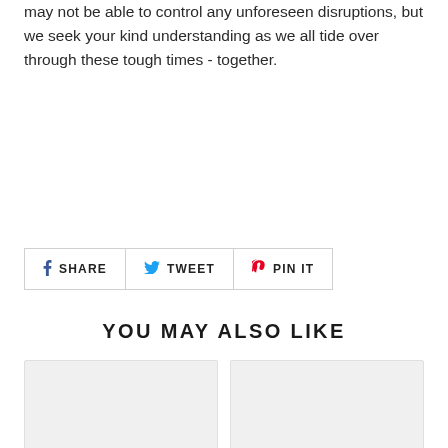may not be able to control any unforeseen disruptions, but we seek your kind understanding as we all tide over through these tough times - together.
[Figure (infographic): Social sharing buttons: SHARE (Facebook), TWEET (Twitter), PIN IT (Pinterest)]
YOU MAY ALSO LIKE
[Figure (other): Two product card placeholders side by side with light gray backgrounds]